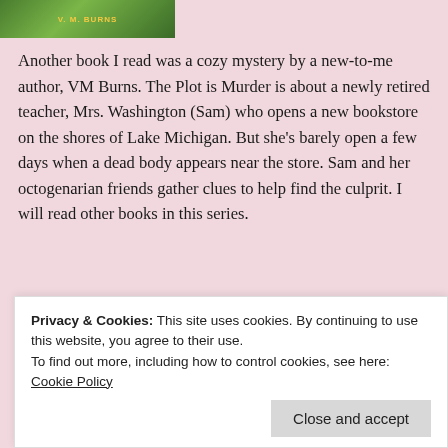[Figure (illustration): Partial book cover image showing 'V. M. Burns' text on a green background, cropped at top of page]
Another book I read was a cozy mystery by a new-to-me author, VM Burns. The Plot is Murder is about a newly retired teacher, Mrs. Washington (Sam) who opens a new bookstore on the shores of Lake Michigan. But she's barely open a few days when a dead body appears near the store. Sam and her octogenarian friends gather clues to help find the culprit. I will read other books in this series.
[Figure (screenshot): Advertisement banner showing 'podcast is here.' text with smartphone mockups displaying 'Up Next' podcast queue screens with blue UI elements on white background]
Privacy & Cookies: This site uses cookies. By continuing to use this website, you agree to their use.
To find out more, including how to control cookies, see here: Cookie Policy
Close and accept